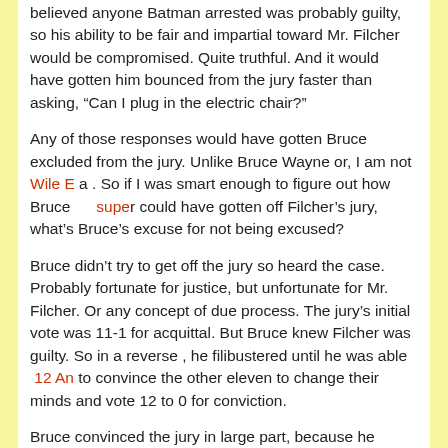believed anyone Batman arrested was probably guilty, so his ability to be fair and impartial toward Mr. Filcher would be compromised. Quite truthful. And it would have gotten him bounced from the jury faster than asking, “Can I plug in the electric chair?”
Any of those responses would have gotten Bruce excluded from the jury. Unlike Bruce Wayne or, I am not Wile E a . So if I was smart enough to figure out how Bruce super could have gotten off Filcher’s jury, what’s Bruce’s excuse for not being excused?
Bruce didn’t try to get off the jury so heard the case. Probably fortunate for justice, but unfortunate for Mr. Filcher. Or any concept of due process. The jury’s initial vote was 11-1 for acquittal. But Bruce knew Filcher was guilty. So in a reverse , he filibustered until he was able 12 An to convince the other eleven to change their minds and vote 12 to 0 for conviction.
Bruce convinced the jury in large part, because he